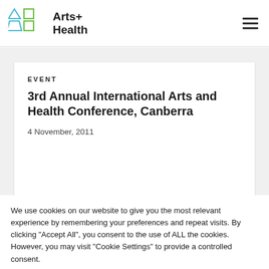Arts+ Health
EVENT
3rd Annual International Arts and Health Conference, Canberra
4 November, 2011
We use cookies on our website to give you the most relevant experience by remembering your preferences and repeat visits. By clicking "Accept All", you consent to the use of ALL the cookies. However, you may visit "Cookie Settings" to provide a controlled consent.